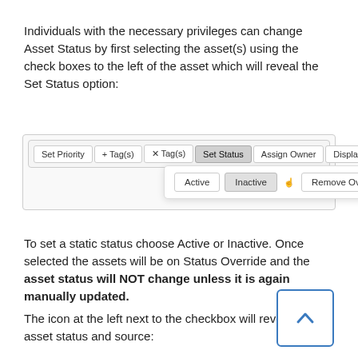Individuals with the necessary privileges can change Asset Status by first selecting the asset(s) using the check boxes to the left of the asset which will reveal the Set Status option:
[Figure (screenshot): Screenshot of a toolbar with buttons: Set Priority, + Tag(s), × Tag(s), Set Status (active/highlighted), Assign Owner, Display ▼. A dropdown below Set Status shows three options: Active, Inactive (with cursor hovering), Remove Override.]
To set a static status choose Active or Inactive. Once selected the assets will be on Status Override and the asset status will NOT change unless it is again manually updated.
The icon at the left next to the checkbox will reveal the asset status and source: